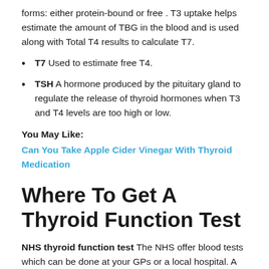forms: either protein-bound or free . T3 uptake helps estimate the amount of TBG in the blood and is used along with Total T4 results to calculate T7.
T7 Used to estimate free T4.
TSH A hormone produced by the pituitary gland to regulate the release of thyroid hormones when T3 and T4 levels are too high or low.
You May Like:
Can You Take Apple Cider Vinegar With Thyroid Medication
Where To Get A Thyroid Function Test
NHS thyroid function test The NHS offer blood tests which can be done at your GPs or a local hospital. A trained nurse